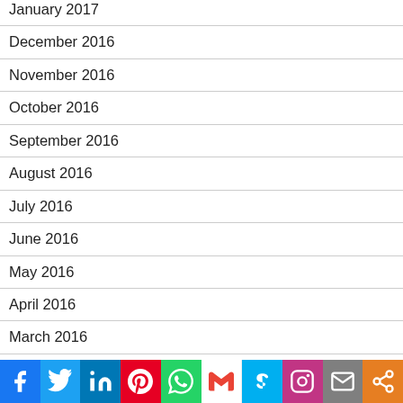January 2017
December 2016
November 2016
October 2016
September 2016
August 2016
July 2016
June 2016
May 2016
April 2016
March 2016
February 2016
[Figure (infographic): Social sharing bar with icons for Facebook, Twitter, LinkedIn, Pinterest, WhatsApp, Gmail, Skype, Instagram, Email, and Share]